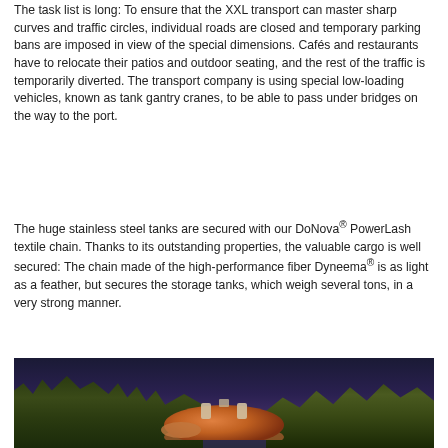The task list is long: To ensure that the XXL transport can master sharp curves and traffic circles, individual roads are closed and temporary parking bans are imposed in view of the special dimensions. Cafés and restaurants have to relocate their patios and outdoor seating, and the rest of the traffic is temporarily diverted. The transport company is using special low-loading vehicles, known as tank gantry cranes, to be able to pass under bridges on the way to the port.
The huge stainless steel tanks are secured with our DoNova® PowerLash textile chain. Thanks to its outstanding properties, the valuable cargo is well secured: The chain made of the high-performance fiber Dyneema® is as light as a feather, but secures the storage tanks, which weigh several tons, in a very strong manner.
[Figure (photo): Aerial/elevated view of large round stainless steel storage tanks surrounded by trees, photographed at dusk or night with warm lighting illuminating the tanks.]